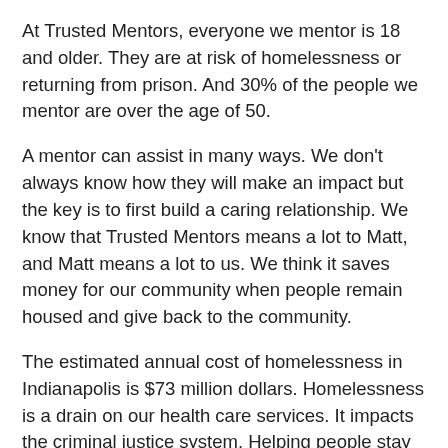At Trusted Mentors, everyone we mentor is 18 and older. They are at risk of homelessness or returning from prison. And 30% of the people we mentor are over the age of 50.
A mentor can assist in many ways. We don't always know how they will make an impact but the key is to first build a caring relationship. We know that Trusted Mentors means a lot to Matt, and Matt means a lot to us. We think it saves money for our community when people remain housed and give back to the community.
The estimated annual cost of homelessness in Indianapolis is $73 million dollars. Homelessness is a drain on our health care services. It impacts the criminal justice system. Helping people stay housed is important to reducing the cost of homelessness.
Trusted Mentors is doing what no one else is doing. With a direct impact in the community. With a 90% success rate, mentors make a difference.
Your financial support has a direct impact on the people we...